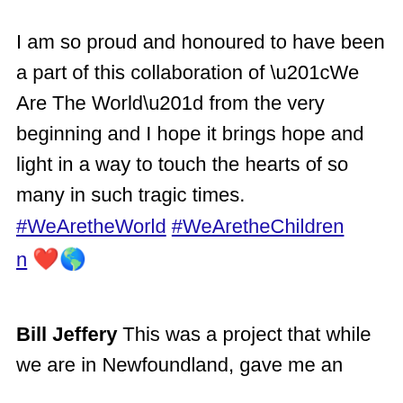I am so proud and honoured to have been a part of this collaboration of “We Are The World” from the very beginning and I hope it brings hope and light in a way to touch the hearts of so many in such tragic times. #WeAretheWorld #WeAretheChildren ❤️🌎
Bill Jeffery This was a project that while we are in Newfoundland, gave me an